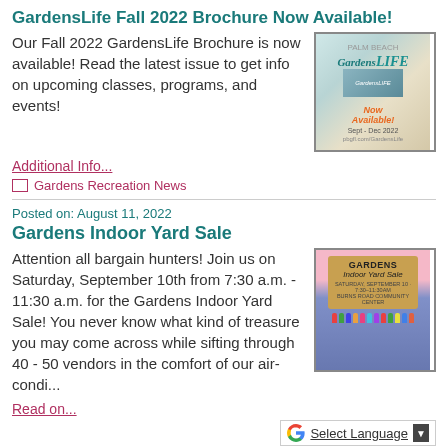GardensLife Fall 2022 Brochure Now Available!
Our Fall 2022 GardensLife Brochure is now available! Read the latest issue to get info on upcoming classes, programs, and events!
[Figure (illustration): GardensLife Fall 2022 brochure cover image showing 'Gardens LIFE Now Available! Sept-Dec 2022' text with magazine cover imagery]
Additional Info...
Gardens Recreation News
Posted on: August 11, 2022
Gardens Indoor Yard Sale
Attention all bargain hunters! Join us on Saturday, September 10th from 7:30 a.m. - 11:30 a.m. for the Gardens Indoor Yard Sale! You never know what kind of treasure you may come across while sifting through 40 - 50 vendors in the comfort of our air-condi...
[Figure (illustration): Gardens Indoor Yard Sale promotional image with sign reading 'GARDENS Indoor Yard Sale, Saturday, September 10, 7:30-11:30am' and colorful illustrated crowd of people below]
Read on...
Select Language